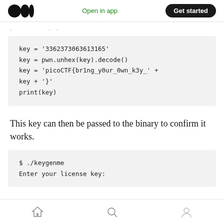Medium logo | Open in app | Get started
...
key = '3362373063613165'
key = pwn.unhex(key).decode()
key = 'picoCTF{br1ng_y0ur_0wn_k3y_' +
key + '}'
print(key)
This key can then be passed to the binary to confirm it works.
$ ./keygenme
Enter your license key:
Home | Search | Profile